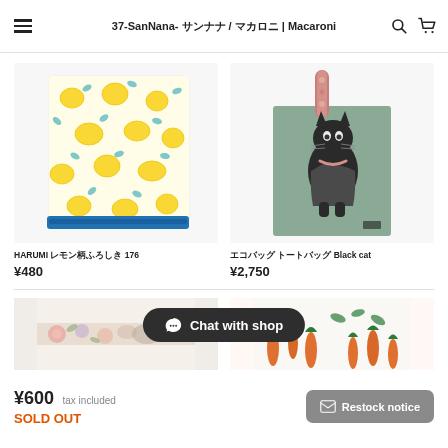37-SanNana- サンナナ / マカロニ | Macaroni
[Figure (photo): HARUMI lemon pattern folded fabric item with blue zipper band]
HARUMI レモン柄ふろしき 176
¥480
[Figure (photo): Sage green tote bag with black cat illustration wearing clothes, with pink floral strap]
エコバッグ トートバッグ Black cat
¥2,750
[Figure (photo): Partial view of two items: left shows floral/animal pattern tape or wrap, right shows orange carrot pattern fabric]
Chat with shop
¥600  tax included
SOLD OUT
Restock notice